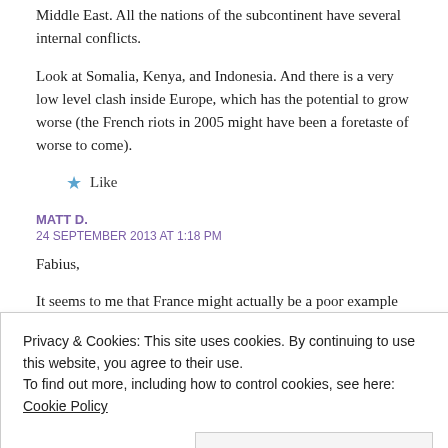Middle East. All the nations of the subcontinent have several internal conflicts.
Look at Somalia, Kenya, and Indonesia. And there is a very low level clash inside Europe, which has the potential to grow worse (the French riots in 2005 might have been a foretaste of worse to come).
★ Like
MATT D.
24 SEPTEMBER 2013 AT 1:18 PM
Fabius,
It seems to me that France might actually be a poor example for your argument. To me, it looks like what's going on there has more the flavor or a first-class/second-class citizen conflict, very analogous to the ongoing black-
Privacy & Cookies: This site uses cookies. By continuing to use this website, you agree to their use.
To find out more, including how to control cookies, see here: Cookie Policy
Close and accept
keeps playing the spoiler every time one faction gets close to winning, there